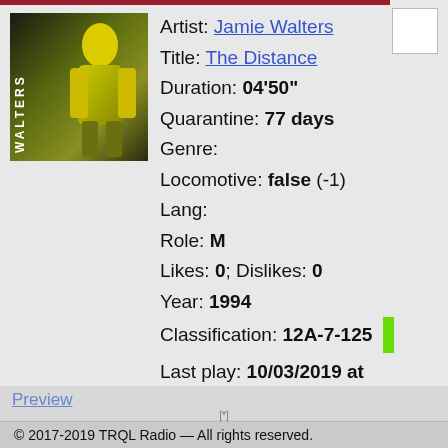[Figure (photo): Album cover art for Jamie Walters showing a figure in yellow/green with WALTERS text vertical on left side]
Artist: Jamie Walters
Title: The Distance
Duration: 04'50"
Quarantine: 77 days
Genre:
Locomotive: false (-1)
Lang:
Role: M
Likes: 0; Dislikes: 0
Year: 1994
Classification: 12A-7-125
Last play: 10/03/2019 at 23:24:53
Preview
© 2017-2019 TRQL Radio — All rights reserved.